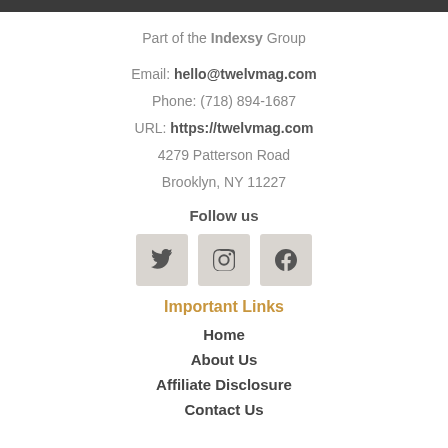Part of the Indexsy Group
Email: hello@twelvmag.com
Phone: (718) 894-1687
URL: https://twelvmag.com
4279 Patterson Road
Brooklyn, NY 11227
Follow us
[Figure (other): Social media icons for Twitter, Instagram, and Facebook]
Important Links
Home
About Us
Affiliate Disclosure
Contact Us